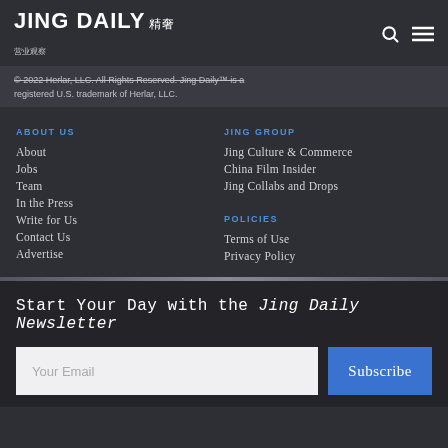JING DAILY 精奢
© 2022 Herlar, LLC. All Rights Reserved. Jing Daily™ is a registered U.S. trademark of Herlar, LLC.
ABOUT US
About
Jobs
Team
In the Press
Write for Us
Contact Us
Advertise
JING GROUP
Jing Culture & Commerce
China Film Insider
Jing Collabs and Drops
POLICIES
Terms of Use
Privacy Policy
Start Your Day with the Jing Daily Newsletter